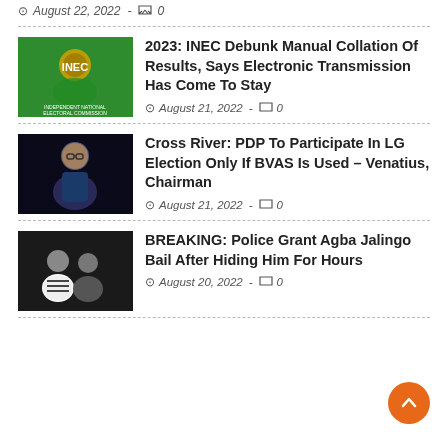August 22, 2022 - 0
2023: INEC Debunk Manual Collation Of Results, Says Electronic Transmission Has Come To Stay
August 21, 2022 - 0
Cross River: PDP To Participate In LG Election Only If BVAS Is Used – Venatius, Chairman
August 21, 2022 - 0
BREAKING: Police Grant Agba Jalingo Bail After Hiding Him For Hours
August 20, 2022 - 0